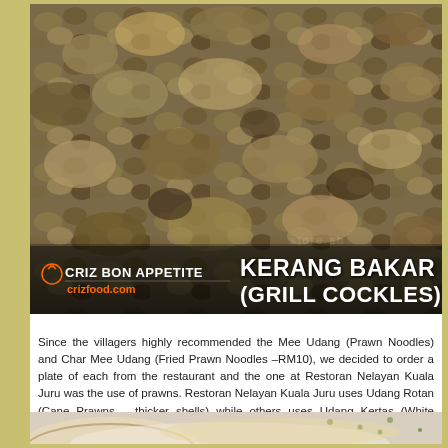[Figure (photo): Close-up photo of many cockles (kerang) in a pile, showing their ribbed shells in various earth tones. Overlaid with 'Criz Bon Appetite crizfood.com' logo and 'KERANG BAKAR (GRILL COCKLES)' title text.]
Since the villagers highly recommended the Mee Udang (Prawn Noodles) and Char Mee Udang (Fried Prawn Noodles –RM10), we decided to order a plate of each from the restaurant and the one at Restoran Nelayan Kuala Juru was the use of prawns. Restoran Nelayan Kuala Juru uses Udang Rotan (Cane Prawns – thicker shells) while others uses Udang Kertas (White Prawns – paper thin shells).
[Figure (photo): Partial view of a dish, appears to be a bowl with food, partially cut off at bottom of page.]